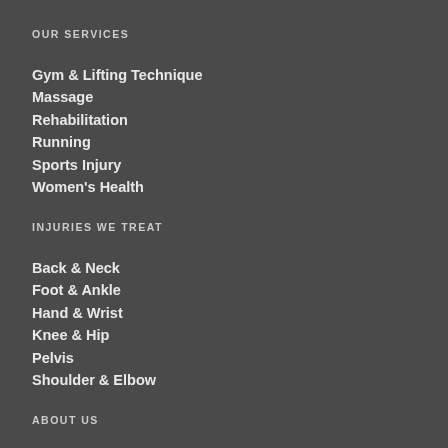OUR SERVICES
Gym & Lifting Technique
Massage
Rehabilitation
Running
Sports Injury
Women's Health
INJURIES WE TREAT
Back & Neck
Foot & Ankle
Hand & Wrist
Knee & Hip
Pelvis
Shoulder & Elbow
ABOUT US